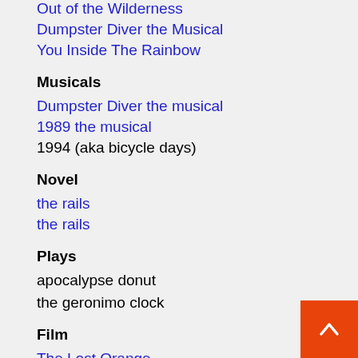Out of the Wilderness
Dumpster Diver the Musical
You Inside The Rainbow
Musicals
Dumpster Diver the musical
1989 the musical
1994 (aka bicycle days)
Novel
the rails
the rails
Plays
apocalypse donut
the geronimo clock
Film
The Lost Orange